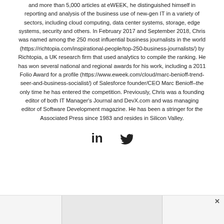and more than 5,000 articles at eWEEK, he distinguished himself in reporting and analysis of the business use of new-gen IT in a variety of sectors, including cloud computing, data center systems, storage, edge systems, security and others. In February 2017 and September 2018, Chris was named among the 250 most influential business journalists in the world (https://richtopia.com/inspirational-people/top-250-business-journalists/) by Richtopia, a UK research firm that used analytics to compile the ranking. He has won several national and regional awards for his work, including a 2011 Folio Award for a profile (https://www.eweek.com/cloud/marc-benioff-trend-seer-and-business-socialist/) of Salesforce founder/CEO Marc Benioff–the only time he has entered the competition. Previously, Chris was a founding editor of both IT Manager's Journal and DevX.com and was managing editor of Software Development magazine. He has been a stringer for the Associated Press since 1983 and resides in Silicon Valley.
[Figure (other): Social media icons: LinkedIn and Twitter]